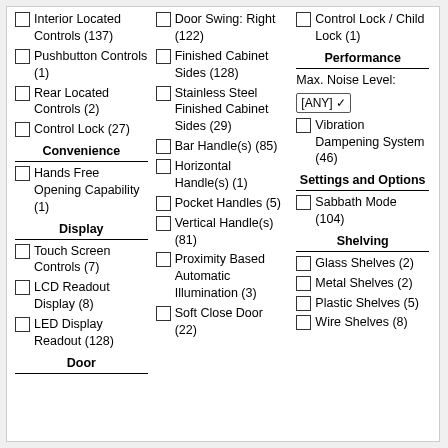Interior Located Controls (137)
Pushbutton Controls (1)
Rear Located Controls (2)
Control Lock (27)
Convenience
Hands Free Opening Capability (1)
Display
Touch Screen Controls (7)
LCD Readout Display (8)
LED Display Readout (128)
Door
Door Swing: Right (122)
Finished Cabinet Sides (128)
Stainless Steel Finished Cabinet Sides (29)
Bar Handle(s) (85)
Horizontal Handle(s) (1)
Pocket Handles (5)
Vertical Handle(s) (81)
Proximity Based Automatic Illumination (3)
Soft Close Door (22)
Control Lock / Child Lock (1)
Performance
Max. Noise Level:
Vibration Dampening System (46)
Settings and Options
Sabbath Mode (104)
Shelving
Glass Shelves (2)
Metal Shelves (2)
Plastic Shelves (5)
Wire Shelves (8)